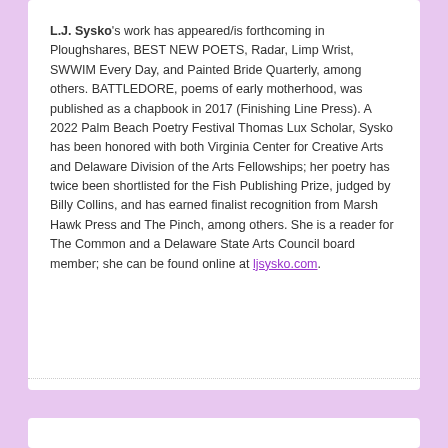L.J. Sysko's work has appeared/is forthcoming in Ploughshares, BEST NEW POETS, Radar, Limp Wrist, SWWIM Every Day, and Painted Bride Quarterly, among others. BATTLEDORE, poems of early motherhood, was published as a chapbook in 2017 (Finishing Line Press). A 2022 Palm Beach Poetry Festival Thomas Lux Scholar, Sysko has been honored with both Virginia Center for Creative Arts and Delaware Division of the Arts Fellowships; her poetry has twice been shortlisted for the Fish Publishing Prize, judged by Billy Collins, and has earned finalist recognition from Marsh Hawk Press and The Pinch, among others. She is a reader for The Common and a Delaware State Arts Council board member; she can be found online at ljsysko.com.